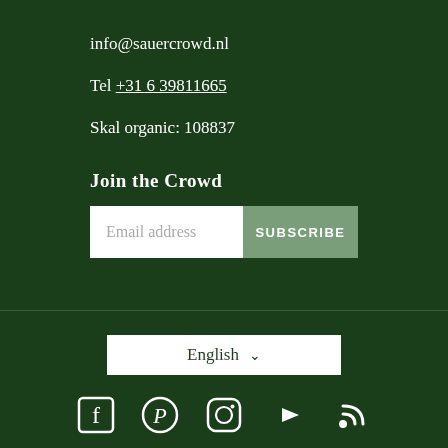info@sauercrowd.nl
Tel +31 6 39811665
Skal organic: 108837
Join the Crowd
Email address  SUBSCRIBE
English
[Figure (other): Social media icons: Facebook, Pinterest, Instagram, YouTube, RSS feed]